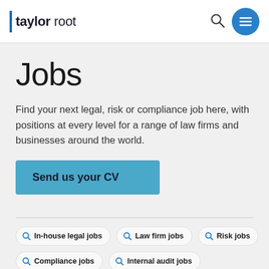taylor root
Jobs
Find your next legal, risk or compliance job here, with positions at every level for a range of law firms and businesses around the world.
Send us your CV
In-house legal jobs
Law firm jobs
Risk jobs
Compliance jobs
Internal audit jobs
Company secretary jobs